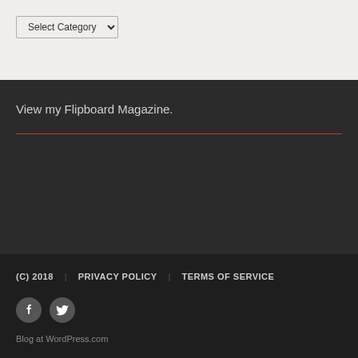Select Category
View my Flipboard Magazine.
(C) 2018   PRIVACY POLICY   TERMS OF SERVICE
Blog at WordPress.com